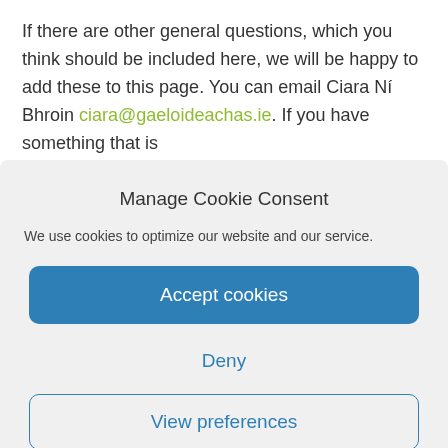If there are other general questions, which you think should be included here, we will be happy to add these to this page. You can email Ciara Ní Bhroin ciara@gaeloideachas.ie. If you have something that is
Manage Cookie Consent
We use cookies to optimize our website and our service.
Accept cookies
Deny
View preferences